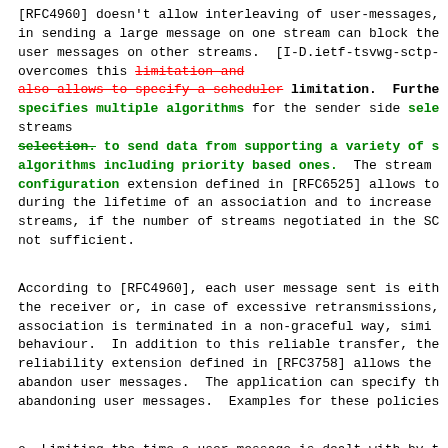[RFC4960] doesn't allow interleaving of user-messages, in sending a large message on one stream can block the user messages on other streams.  [I-D.ietf-tsvwg-sctp- overcomes this [strikethrough: limitation and also allows to specify a scheduler] limitation.  Further specifies multiple algorithms for the sender side sele... streams [strikethrough: selection.] to send data from supporting a variety of s... algorithms including priority based ones.  The stream configuration extension defined in [RFC6525] allows to during the lifetime of an association and to increase streams, if the number of streams negotiated in the SC not sufficient.
According to [RFC4960], each user message sent is eith the receiver or, in case of excessive retransmissions, association is terminated in a non-graceful way, simi behaviour.  In addition to this reliable transfer, the reliability extension defined in [RFC3758] allows the abandon user messages.  The application can specify th abandoning user messages.  Examples for these policies
o  Limiting the time a user message is dealt with by t
o  Limiting the number of retransmissions for each fra message.  If the number of retransmissions is limit gets a service similar to UDP.
o  Abandoning messages of lower priority in case of a shortage.